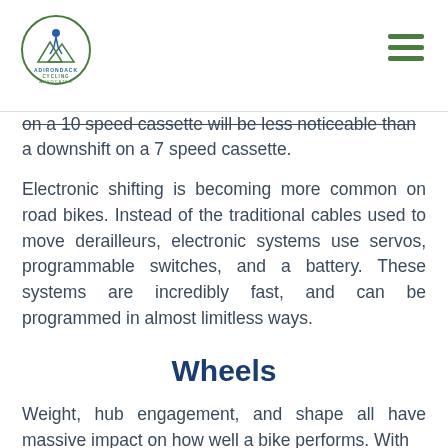Adirondack Cycling Advocates
on a 10 speed cassette will be less noticeable than a downshift on a 7 speed cassette.
Electronic shifting is becoming more common on road bikes. Instead of the traditional cables used to move derailleurs, electronic systems use servos, programmable switches, and a battery. These systems are incredibly fast, and can be programmed in almost limitless ways.
Wheels
Weight, hub engagement, and shape all have massive impact on how well a bike performs. With